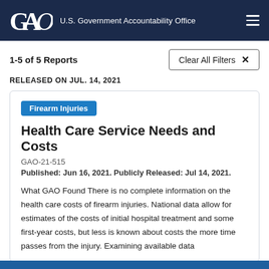GAO — U.S. Government Accountability Office
1-5 of 5 Reports
Clear All Filters ×
RELEASED ON JUL. 14, 2021
Firearm Injuries
Health Care Service Needs and Costs
GAO-21-515
Published: Jun 16, 2021. Publicly Released: Jul 14, 2021.
What GAO Found There is no complete information on the health care costs of firearm injuries. National data allow for estimates of the costs of initial hospital treatment and some first-year costs, but less is known about costs the more time passes from the injury. Examining available data